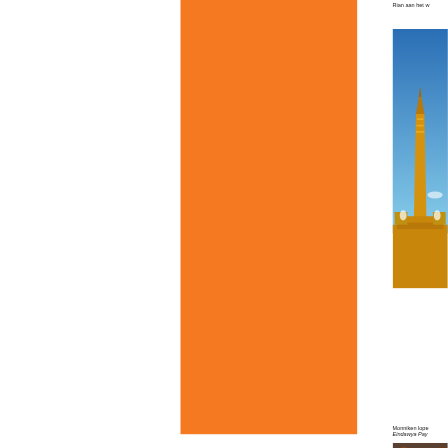Rian aan het w
[Figure (photo): Orange decorative block filling the center portion of the page]
[Figure (photo): Golden Buddhist temple stupa (Eindawya Pagoda) against a blue sky, partially cropped on the right side of the page]
Monniken lope Eindawya Pay
[Figure (photo): Partially visible photo at bottom right, appears to show monks or people]